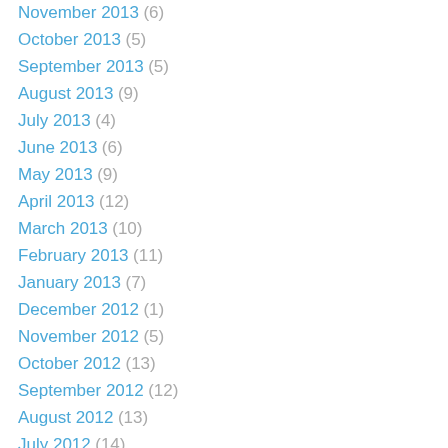November 2013 (6)
October 2013 (5)
September 2013 (5)
August 2013 (9)
July 2013 (4)
June 2013 (6)
May 2013 (9)
April 2013 (12)
March 2013 (10)
February 2013 (11)
January 2013 (7)
December 2012 (1)
November 2012 (5)
October 2012 (13)
September 2012 (12)
August 2012 (13)
July 2012 (14)
June 2012 (11)
May 2012 (5)
April 2012 (7)